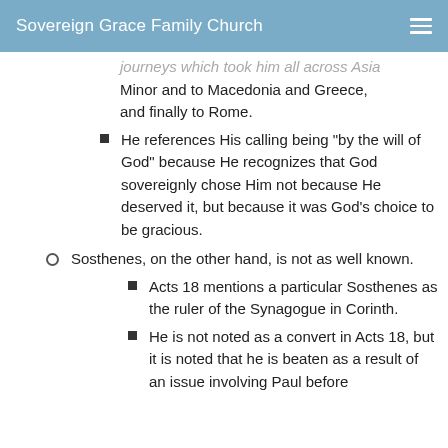Sovereign Grace Family Church
journeys which took him all across Asia Minor and to Macedonia and Greece, and finally to Rome.
He references His calling being "by the will of God" because He recognizes that God sovereignly chose Him not because He deserved it, but because it was God's choice to be gracious.
Sosthenes, on the other hand, is not as well known.
Acts 18 mentions a particular Sosthenes as the ruler of the Synagogue in Corinth.
He is not noted as a convert in Acts 18, but it is noted that he is beaten as a result of an issue involving Paul before